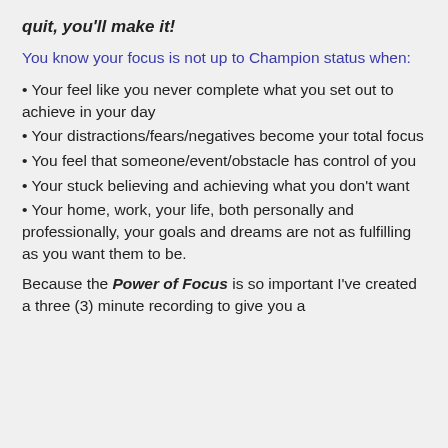quit, you'll make it!
You know your focus is not up to Champion status when:
Your feel like you never complete what you set out to achieve in your day
Your distractions/fears/negatives become your total focus
You feel that someone/event/obstacle has control of you
Your stuck believing and achieving what you don't want
Your home, work, your life, both personally and professionally, your goals and dreams are not as fulfilling as you want them to be.
Because the Power of Focus is so important I've created a three (3) minute recording to give you a